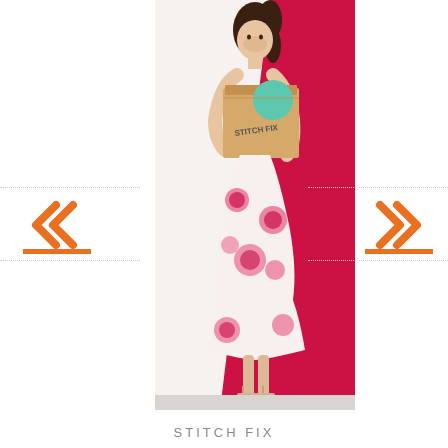[Figure (photo): A smiling woman in a white floral dress with red roses, holding a Stitch Fix cardboard box, standing against a white and red diagonal background]
[Figure (infographic): Left navigation double chevron arrow (<<) in orange with orange underline bar, with dotted lines above and below]
[Figure (infographic): Right navigation double chevron arrow (>>) in orange with orange underline bar, with dotted lines above and below]
STITCH FIX